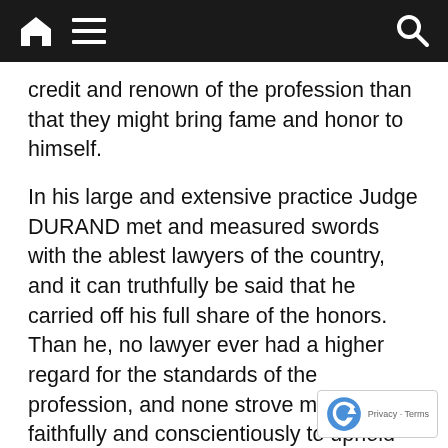Navigation bar with home icon, menu icon, and search icon
credit and renown of the profession than that they might bring fame and honor to himself.
In his large and extensive practice Judge DURAND met and measured swords with the ablest lawyers of the country, and it can truthfully be said that he carried off his full share of the honors. Than he, no lawyer ever had a higher regard for the standards of the profession, and none strove more faithfully and conscientiously to uphold and elevate them. He despised sham and pretense, and in the practice of his profession never resorted to craft or cunning to win a case. To him a victory secured by the least sacrifice of fairness or honor would have been more deplor[able] and humiliating than the most ignoble defeat. Fo[r] more than 40 years he practiced in the courts of [this]